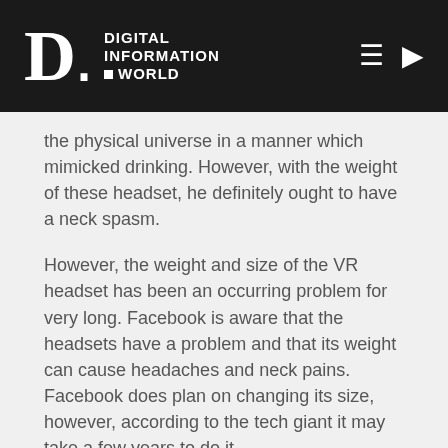Digital Information World
the physical universe in a manner which mimicked drinking. However, with the weight of these headset, he definitely ought to have a neck spasm.
However, the weight and size of the VR headset has been an occurring problem for very long. Facebook is aware that the headsets have a problem and that its weight can cause headaches and neck pains. Facebook does plan on changing its size, however, according to the tech giant it may take a few years to do it.
Moreover, the AR VR glasses have a massive growth expectancy and Louis Rosenberg, a 30-year augmented reality veteran and CEO of Unanimous AI believes that in the future AR glasses will replace smartphones for...